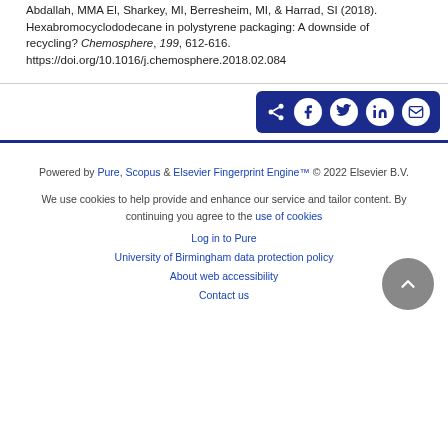Abdallah, MMA El, Sharkey, MI, Berresheim, MI, & Harrad, SI (2018). Hexabromocyclododecane in polystyrene packaging: A downside of recycling? Chemosphere, 199, 612-616. https://doi.org/10.1016/j.chemosphere.2018.02.084
[Figure (other): Share buttons row with icons for share, Facebook, Twitter, LinkedIn, and email on a dark blue background]
Powered by Pure, Scopus & Elsevier Fingerprint Engine™ © 2022 Elsevier B.V.
We use cookies to help provide and enhance our service and tailor content. By continuing you agree to the use of cookies
Log in to Pure
University of Birmingham data protection policy
About web accessibility
Contact us